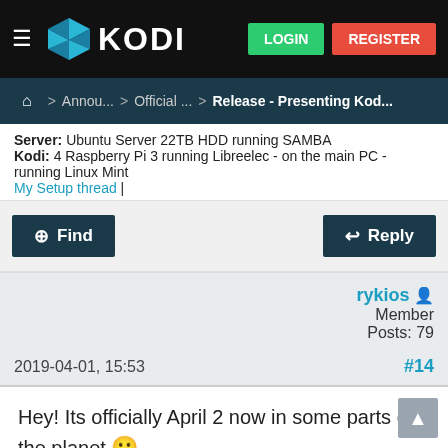KODI — LOGIN REGISTER
Home > Annou... > Official... > Release - Presenting Kod...
Server: Ubuntu Server 22TB HDD running SAMBA
Kodi: 4 Raspberry Pi 3 running Libreelec - on the main PC - running Linux Mint
My Setup thread |
Find   Reply
rykios
Member
Posts: 79
2019-04-01, 15:53   #14
Hey!  Its officially April 2 now in some parts of the planet 🙂